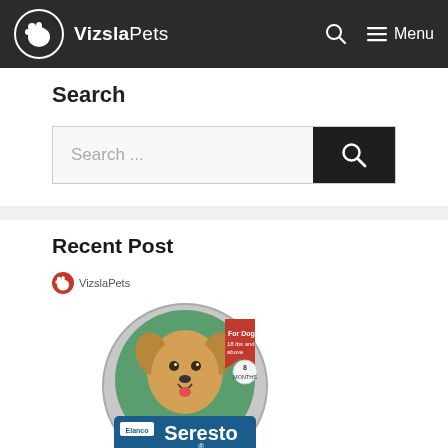VizslaPets — Menu
Search
[Figure (other): Search bar with text input placeholder 'Search ...' and a dark search button with magnifying glass icon]
Recent Post
[Figure (photo): Seresto Large Dog flea and tick collar product image with VizslaPets logo badge]